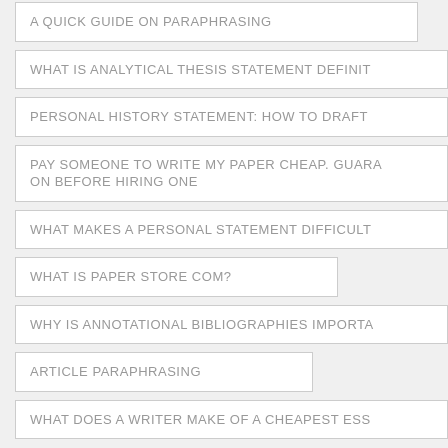A QUICK GUIDE ON PARAPHRASING
WHAT IS ANALYTICAL THESIS STATEMENT DEFINIT...
PERSONAL HISTORY STATEMENT: HOW TO DRAFT...
PAY SOMEONE TO WRITE MY PAPER CHEAP. GUARA... ON BEFORE HIRING ONE
WHAT MAKES A PERSONAL STATEMENT DIFFICULT...
WHAT IS PAPER STORE COM?
WHY IS ANNOTATIONAL BIBLIOGRAPHIES IMPORTA...
ARTICLE PARAPHRASING
WHAT DOES A WRITER MAKE OF A CHEAPEST ESS...